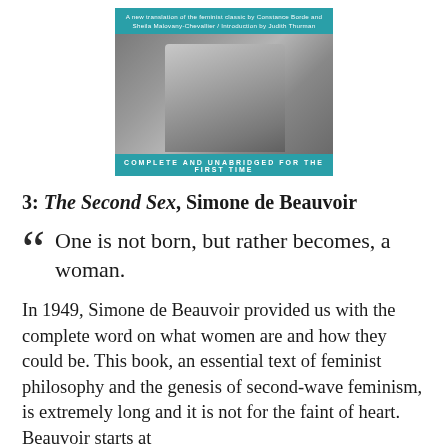[Figure (photo): Book cover of The Second Sex by Simone de Beauvoir. Teal top banner with small white text about translation by Constance Borde and Sheila Malovany-Chevallier with introduction by Judith Thurman. Black and white photo of a person in the center. Teal bottom banner reading COMPLETE AND UNABRIDGED FOR THE FIRST TIME.]
3: The Second Sex, Simone de Beauvoir
“One is not born, but rather becomes, a woman.
In 1949, Simone de Beauvoir provided us with the complete word on what women are and how they could be. This book, an essential text of feminist philosophy and the genesis of second-wave feminism, is extremely long and it is not for the faint of heart. Beauvoir starts at the beginning and goes to the